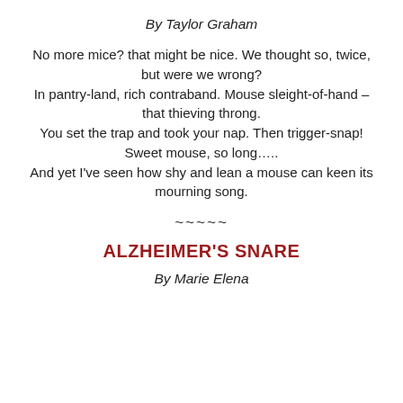By Taylor Graham
No more mice? that might be nice. We thought so, twice, but were we wrong?
In pantry-land, rich contraband. Mouse sleight-of-hand – that thieving throng.
You set the trap and took your nap. Then trigger-snap! Sweet mouse, so long…..
And yet I've seen how shy and lean a mouse can keen its mourning song.
~~~~~
ALZHEIMER'S SNARE
By Marie Elena